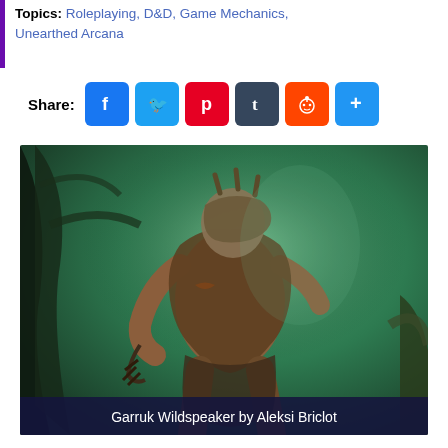Topics: Roleplaying, D&D, Game Mechanics, Unearthed Arcana
Share: [Facebook] [Twitter] [Pinterest] [Tumblr] [Reddit] [More]
[Figure (illustration): Fantasy warrior character Garruk Wildspeaker, a large muscular figure in dark fur and spiked armor, holding a weapon, set against a green forest background. Caption reads: Garruk Wildspeaker by Aleksi Briclot]
Garruk Wildspeaker by Aleksi Briclot